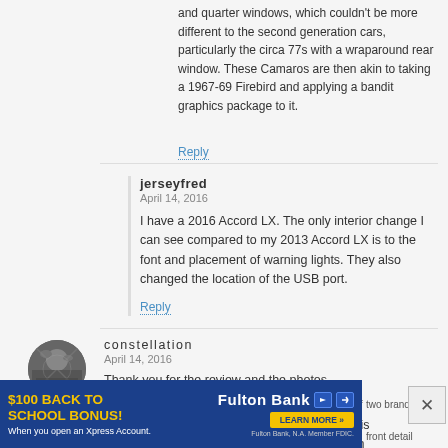and quarter windows, which couldn't be more different to the second generation cars, particularly the circa 77s with a wraparound rear window. These Camaros are then akin to taking a 1967-69 Firebird and applying a bandit graphics package to it.
Reply
jerseyfred
April 14, 2016
I have a 2016 Accord LX. The only interior change I can see compared to my 2013 Accord LX is to the font and placement of warning lights. They also changed the location of the USB port.
Reply
constellation
April 14, 2016
[Figure (photo): Avatar photo for user 'constellation', circular cropped black and white image]
Thank you for the review and the photos.
I lament what has happened to the front end of modern cars and most of those illustrated in this piece are busy, confusing, unfocused and even bizarre.
[Figure (infographic): Advertisement banner: '$100 BACK TO SCHOOL BONUS! When you open an Xpress Account.' Fulton Bank. LEARN MORE button. Blue background with yellow text.]
two brands –
front detail